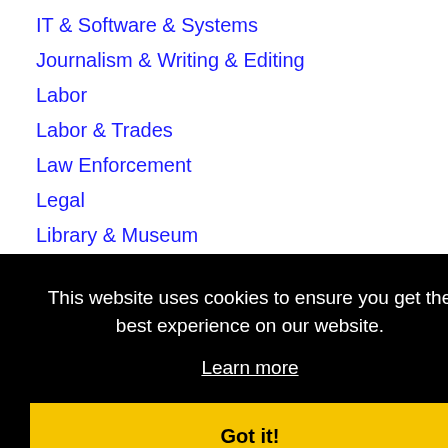IT & Software & Systems
Journalism & Writing & Editing
Labor
Labor & Trades
Law Enforcement
Legal
Library & Museum
Logistics, Transportation & Drivers
Maintenance & Repair
Management & Business
Manufacturing
This website uses cookies to ensure you get the best experience on our website.
Learn more
Got it!
Other
Pharmacist...